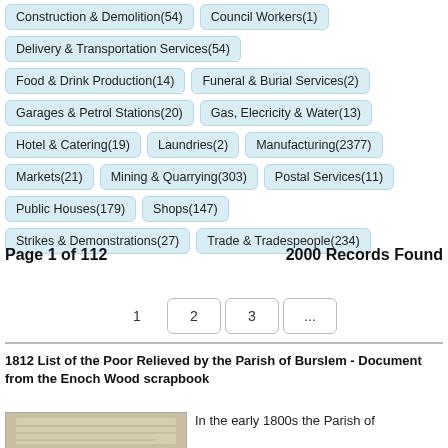Construction & Demolition(54)
Council Workers(1)
Delivery & Transportation Services(54)
Food & Drink Production(14)
Funeral & Burial Services(2)
Garages & Petrol Stations(20)
Gas, Elecricity & Water(13)
Hotel & Catering(19)
Laundries(2)
Manufacturing(2377)
Markets(21)
Mining & Quarrying(303)
Postal Services(11)
Public Houses(179)
Shops(147)
Strikes & Demonstrations(27)
Trade & Tradespeople(234)
Page 1 of 112        2000 Records Found
1  2  3  ...
1812 List of the Poor Relieved by the Parish of Burslem - Document from the Enoch Wood scrapbook
In the early 1800s the Parish of